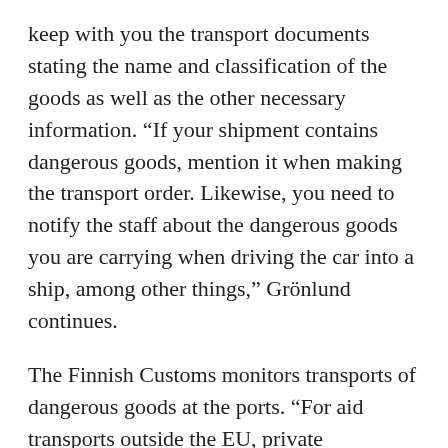keep with you the transport documents stating the name and classification of the goods as well as the other necessary information. “If your shipment contains dangerous goods, mention it when making the transport order. Likewise, you need to notify the staff about the dangerous goods you are carrying when driving the car into a ship, among other things,” Grönlund continues.
The Finnish Customs monitors transports of dangerous goods at the ports. “For aid transports outside the EU, private individuals who are organising transports should submit the customs notifications already before they leave Finland. This will make it easier to take the transport across the EU border from Poland to Ukraine, for instance, and bringing the aid to its destination will go more smoothly. You should always take an itemised